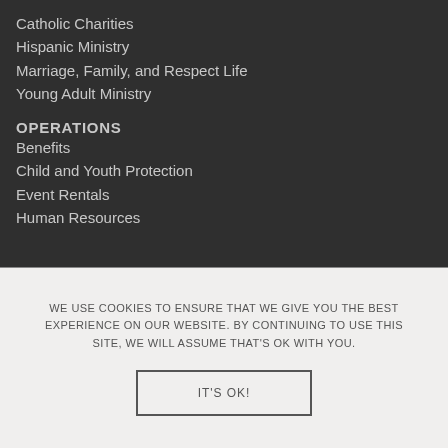Catholic Charities
Hispanic Ministry
Marriage, Family, and Respect Life
Young Adult Ministry
OPERATIONS
Benefits
Child and Youth Protection
Event Rentals
Human Resources
WE USE COOKIES TO ENSURE THAT WE GIVE YOU THE BEST EXPERIENCE ON OUR WEBSITE. BY CONTINUING TO USE THIS SITE, WE WILL ASSUME THAT'S OK WITH YOU.
IT'S OK!